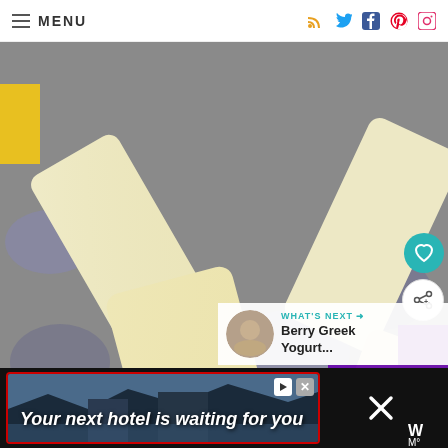≡ MENU — social icons: RSS, Twitter, Facebook, Pinterest, Instagram
[Figure (photo): Close-up photo of multiple cream/yellow colored ice cream or popsicle bars on gray stones/ice, with yellow and purple accents visible. Several rectangular frozen bars are scattered across the frame.]
[Figure (infographic): WHAT'S NEXT → Berry Greek Yogurt... promotional panel with thumbnail image]
[Figure (infographic): Ad banner: 'Your next hotel is waiting for you' over a hotel landscape photo, with red border, play and close buttons]